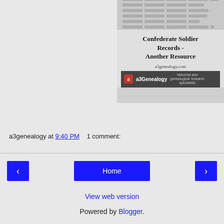[Figure (illustration): A promotional image for a3genealogy.com showing Confederate Soldier Records - Another Resource, with a handwritten document at top and a branded footer bar with the a3Genealogy logo and 'historical and genealogical research specialists' tagline.]
a3genealogy at 9:40 PM   1 comment:
‹   Home   ›
View web version
Powered by Blogger.